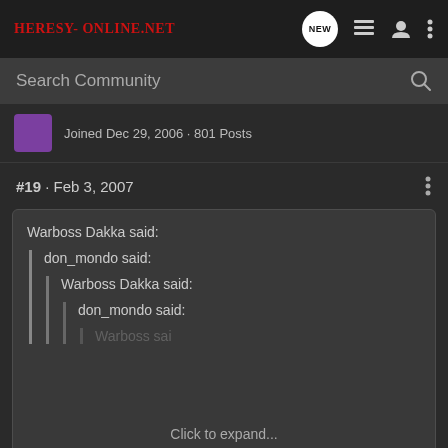Heresy-Online.net
Search Community
Joined Dec 29, 2006 · 801 Posts
#19 · Feb 3, 2007
Warboss Dakka said:
don_mondo said:
Warboss Dakka said:
don_mondo said:
Click to expand...
Whoo! Quote Ziggurat!